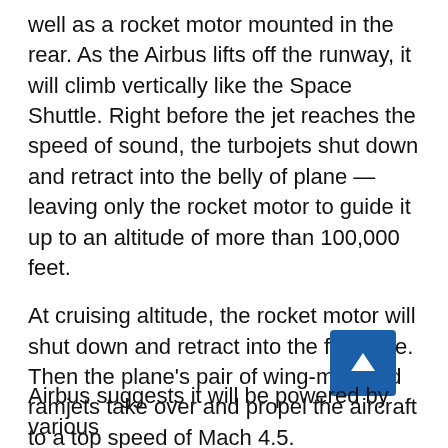well as a rocket motor mounted in the rear. As the Airbus lifts off the runway, it will climb vertically like the Space Shuttle. Right before the jet reaches the speed of sound, the turbojets shut down and retract into the belly of plane — leaving only the rocket motor to guide it up to an altitude of more than 100,000 feet.
At cruising altitude, the rocket motor will shut down and retract into the fuselage. Then the plane's pair of wing-mounted ramjets take over and propel the aircraft to a top speed of Mach 4.5.
Airbus suggests it will be powered by various